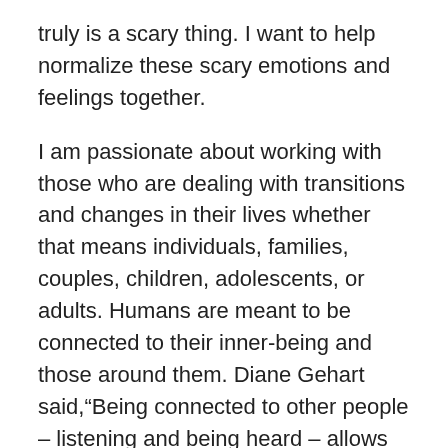truly is a scary thing. I want to help normalize these scary emotions and feelings together.
I am passionate about working with those who are dealing with transitions and changes in their lives whether that means individuals, families, couples, children, adolescents, or adults. Humans are meant to be connected to their inner-being and those around them. Diane Gehart said,“Being connected to other people – listening and being heard – allows us to remember who we were, who we are, and who we are becoming.” In this therapeutic relationship, we will work together to empower who you are becoming.
I graduated from the University of Minnesota – Twin Cities with a Bachelor’s degree in Family Social Science. I am currently attending Saint